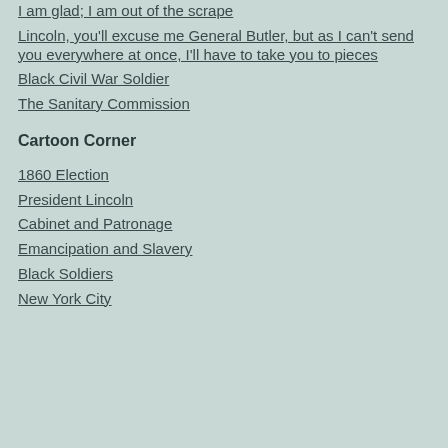I am glad; I am out of the scrape
Lincoln, you'll excuse me General Butler, but as I can't send you everywhere at once, I'll have to take you to pieces
Black Civil War Soldier
The Sanitary Commission
Cartoon Corner
1860 Election
President Lincoln
Cabinet and Patronage
Emancipation and Slavery
Black Soldiers
New York City